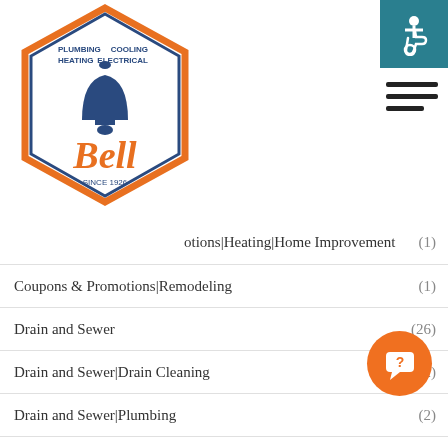[Figure (logo): Bell Plumbing Heating Cooling Electrical logo — hexagon shape with a bell and orange script 'Bell' text, 'Since 1926']
Co...motions|Heating|Home Improvement (1)
Coupons & Promotions|Remodeling (1)
Drain and Sewer (26)
Drain and Sewer|Drain Cleaning (2)
Drain and Sewer|Plumbing (2)
Drain Cleaning (16)
Drain Cleaning|Home Improvement (1)
Drain Cleaning|Plumbing (2)
Electrical
Electrical|Home Improvement (5)